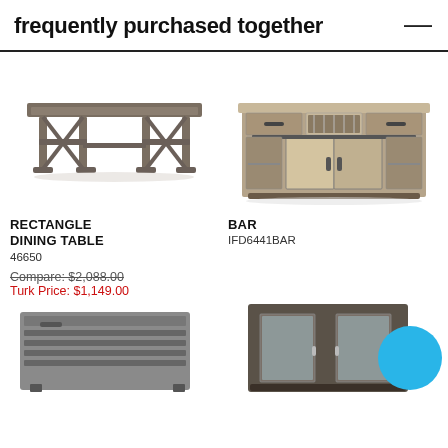frequently purchased together
[Figure (photo): Rectangle dining table - dark grey/brown farmhouse style trestle table]
[Figure (photo): Bar - reclaimed wood sideboard/bar cabinet with sliding barn doors and drawers]
RECTANGLE DINING TABLE
46650
Compare: $2,088.00
Turk Price: $1,149.00
BAR
IFD6441BAR
[Figure (photo): Bottom left product - grey storage chest/trunk (partially visible)]
[Figure (photo): Bottom right product - dark wood cabinet with glass doors (partially visible), with teal circle badge overlay]